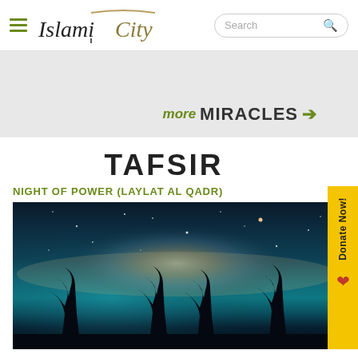IslamiCity
[Figure (screenshot): IslamiCity website screenshot showing navigation header with hamburger menu, IslamiCity logo, and search bar]
[Figure (screenshot): Gray banner area with 'MORE MIRACLES →' link in olive/dark text]
TAFSIR
NIGHT OF POWER (LAYLAT AL QADR)
[Figure (photo): Night sky photo showing the Milky Way galaxy with stars and teal/green nebula colors, with silhouetted palm trees at the bottom]